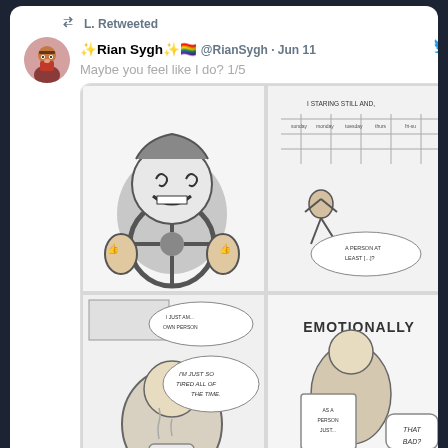L. Retweeted
✨Rian Sygh✨🏳️‍🌈 @RianSygh · Jun 11
Maybe you feel like I do? 1/5
[Figure (illustration): A 4-panel black and white comic strip. Top left: cartoon character with spiral eyes holding a steering wheel, looking manic. Top right: character running with text 'I STARING STILL AND... A PERSON AT LEAST [...]'. Bottom left: character with speech bubbles 'I JUST AM... OWN PERSON' and 'I'M JUST SO TIRED ALL OF THE TIME'. Bottom right: character holding signs with text 'EMOTIONALLY'.]
563
117.5K
L. Retweeted